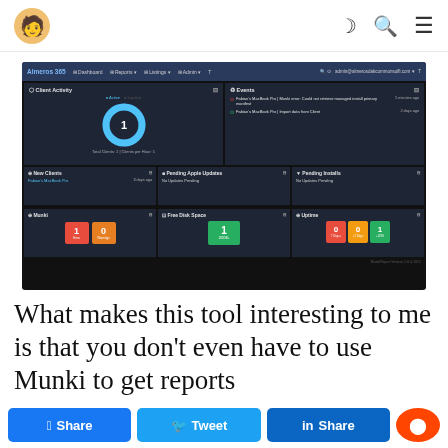Blog navigation header with logo, dark mode, search, and menu icons
[Figure (screenshot): Screenshot of Almeros 365 / MunkiReport dashboard showing Client Activity donut chart with 1 client, Events panel with error and import events, New Clients panel, Pending Apple Updates, Pending Installs, Munki errors/warnings badges, Free Disk Space, and Uptime panels]
What makes this tool interesting to me is that you don't even have to use Munki to get reports
Share  Tweet  Share  Reddit social buttons